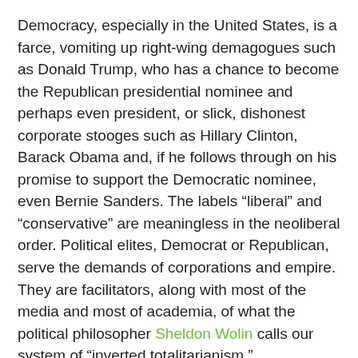Democracy, especially in the United States, is a farce, vomiting up right-wing demagogues such as Donald Trump, who has a chance to become the Republican presidential nominee and perhaps even president, or slick, dishonest corporate stooges such as Hillary Clinton, Barack Obama and, if he follows through on his promise to support the Democratic nominee, even Bernie Sanders. The labels “liberal” and “conservative” are meaningless in the neoliberal order. Political elites, Democrat or Republican, serve the demands of corporations and empire. They are facilitators, along with most of the media and most of academia, of what the political philosopher Sheldon Wolin calls our system of “inverted totalitarianism.”
The attraction of a Trump, like the attraction of Radovan Karadzic or Slobodan Milosevic during the breakdown of Yugoslavia, is that his buffoonery, which is ultimately dangerous, mocks the bankruptcy of the political charade. It lays bare the